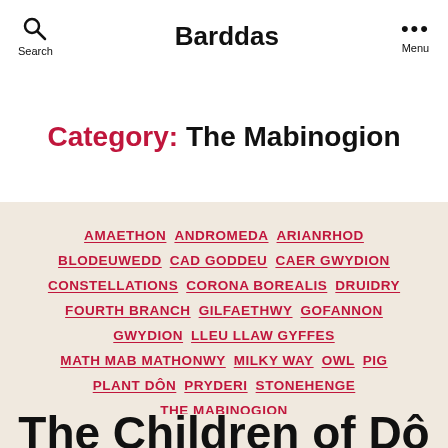Search  Barddas  Menu
Category: The Mabinogion
AMAETHON  ANDROMEDA  ARIANRHOD  BLODEUWEDD  CAD GODDEU  CAER GWYDION  CONSTELLATIONS  CORONA BOREALIS  DRUIDRY  FOURTH BRANCH  GILFAETHWY  GOFANNON  GWYDION  LLEU LLAW GYFFES  MATH MAB MATHONWY  MILKY WAY  OWL  PIG  PLANT DÔN  PRYDERI  STONEHENGE  THE MABINOGION  Y GYMRAEG - THE WELSH LANGUAGE
The Children of Dô…